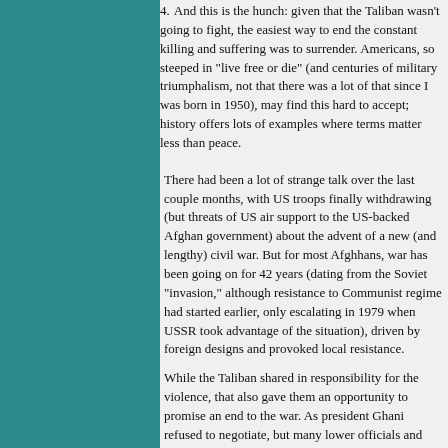4. And this is the hunch: given that the Taliban wasn't going to fight, the easiest way to end the constant killing and suffering was to surrender. Americans, so steeped in "live free or die" (and centuries of military triumphalism, not that there was a lot of that since I was born in 1950), may find this hard to accept; history offers lots of examples where terms matter less than peace.
There had been a lot of strange talk over the last couple months, with US troops finally withdrawing (but threats of US air support to the US-backed Afghan government) about the advent of a new (and lengthy) civil war. But for most Afghhans, war has been going on for 42 years (dating from the Soviet "invasion," although resistance to Communist regime had started earlier, only escalating in 1979 when USSR took advantage of the situation), driven by foreign designs and provoked local resistance.
While the Taliban shared in responsibility for the violence, that also gave them an opportunity to promise an end to the war. As president Ghani refused to negotiate, but many lower officials and militias were willing to deal, ceding political power to the Taliban in exchange for peace -- something the US and its proxies never could provide. The Taliban's seizure of power is more like a coup than a revolution, let alone a conquest, while media and politicians in America are all "hair on fire". Despite those expectations, there is reason to be cautiously optimistic about...